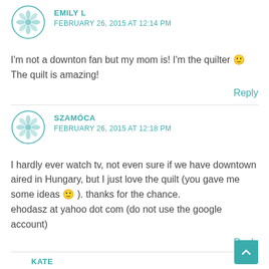EMILY L
FEBRUARY 26, 2015 AT 12:14 PM
I'm not a downton fan but my mom is! I'm the quilter 🙂 The quilt is amazing!
Reply
SZAMÓCA
FEBRUARY 26, 2015 AT 12:18 PM
I hardly ever watch tv, not even sure if we have downtown aired in Hungary, but I just love the quilt (you gave me some ideas 🙂 ). thanks for the chance.
ehodasz at yahoo dot com (do not use the google account)
Reply
KATE
FEBRUARY 26, 2015 AT 12:27 PM